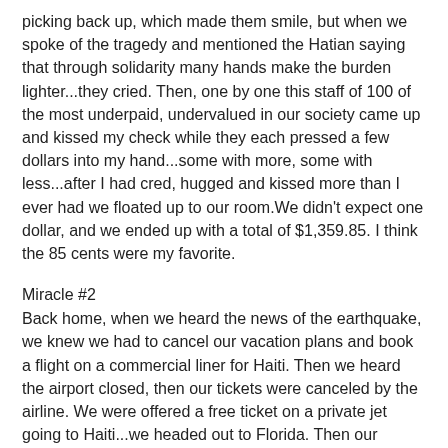picking back up, which made them smile, but when we spoke of the tragedy and mentioned the Hatian saying that through solidarity many hands make the burden lighter...they cried. Then, one by one this staff of 100 of the most underpaid, undervalued in our society came up and kissed my check while they each pressed a few dollars into my hand...some with more, some with less...after I had cred, hugged and kissed more than I ever had we floated up to our room.We didn't expect one dollar, and we ended up with a total of $1,359.85. I think the 85 cents were my favorite.
Miracle #2
Back home, when we heard the news of the earthquake, we knew we had to cancel our vacation plans and book a flight on a commercial liner for Haiti. Then we heard the airport closed, then our tickets were canceled by the airline. We were offered a free ticket on a private jet going to Haiti...we headed out to Florida. Then our private jet fell through, but another miracle: “Clean the World” founder Shawn Siepler offered us not only free nights stay in two hotels, but also free passage for our shipment of supplies but two free seats on a small 4 passenger flight to Port au Prince tomorrow